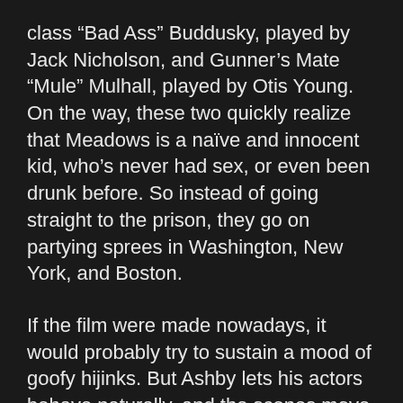class “Bad Ass” Buddusky, played by Jack Nicholson, and Gunner’s Mate “Mule” Mulhall, played by Otis Young. On the way, these two quickly realize that Meadows is a naïve and innocent kid, who’s never had sex, or even been drunk before. So instead of going straight to the prison, they go on partying sprees in Washington, New York, and Boston.
If the film were made nowadays, it would probably try to sustain a mood of goofy hijinks. But Ashby lets his actors behave naturally, and the scenes move along at a pace more in tune with these kinds of characters, people who are trying to stretch a grim duty into a semblance of fun. Quaid is remarkable as a lost soul only now experiencing the world. Young plays Mulhall with alternating bouts of weary amusement and annoyance at the antics of his mate Buddusky. But it’s Jack Nicholson as Buddusky that makes the movie work. He had just reached stardom with his